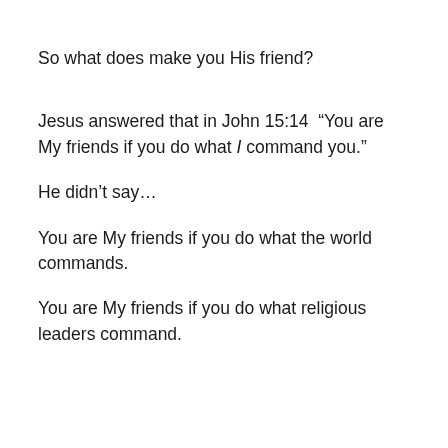So what does make you His friend?
Jesus answered that in John 15:14  “You are My friends if you do what I command you.”
He didn’t say…
You are My friends if you do what the world commands.
You are My friends if you do what religious leaders command.